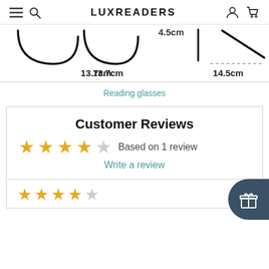LUXREADERS
[Figure (engineering-diagram): Eyeglasses dimension diagram showing frame width 13.7cm and temple length 14.5cm with a measurement of 4.5cm shown at the top center. Black line drawings of glasses frames and temple pieces on white background with dashed measurement lines.]
Reading glasses
Customer Reviews
★★★★☆ Based on 1 review
Write a review
★★★★☆